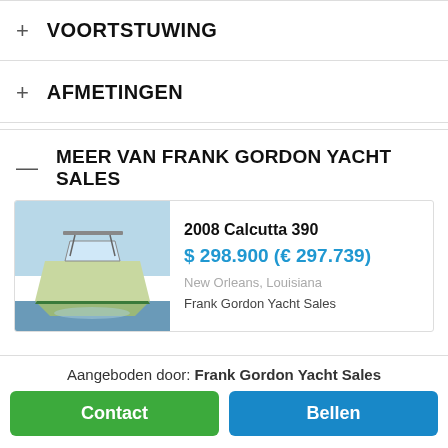+ VOORTSTUWING
+ AFMETINGEN
— MEER VAN FRANK GORDON YACHT SALES
[Figure (photo): Front bow-on view of a 2008 Calcutta 390 fishing boat on water]
2008 Calcutta 390
$ 298.900 (€ 297.739)
New Orleans, Louisiana
Frank Gordon Yacht Sales
Aangeboden door: Frank Gordon Yacht Sales
Contact
Bellen